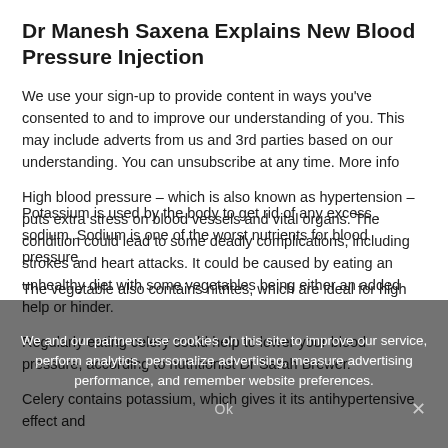Dr Manesh Saxena Explains New Blood Pressure Injection
We use your sign-up to provide content in ways you've consented to and to improve our understanding of you. This may include adverts from us and 3rd parties based on our understanding. You can unsubscribe at any time. More info
High blood pressure – which is also known as hypertension – puts extra stress on blood vessels and vital organs. The condition could lead to some deadly complications, including strokes and heart attacks. It could be caused by eating an unhealthy diet with some vegetables being either an added help or hinder.
Regularly eating celery could help to lower your blood pressure, according to nutritionist Dr Sarah Brewer.
Celery contains potassium, which gives it its antihypertensive effect and
Potassium is used by the body to get rid of any excess sodium. Sodium is one of the worst nutrients for blood pressure.
The vegetable also contains nitrites, which are ideal for high
We and our partners use cookies on this site to improve our service, perform analytics, personalize advertising, measure advertising performance, and remember website preferences.